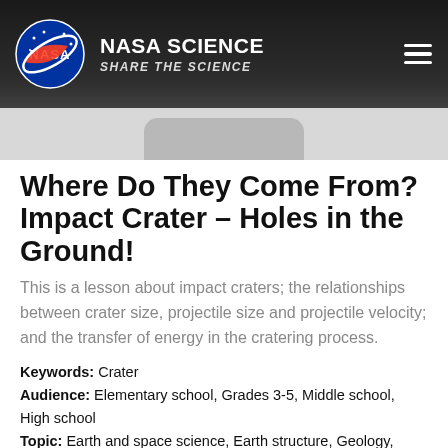NASA SCIENCE | SHARE THE SCIENCE
Where Do They Come From? Impact Crater – Holes in the Ground!
This is a lesson about impact craters; the relationships between crater size, projectile size and projectile velocity; and the transfer of energy in the cratering process.
Keywords: Crater
Audience: Elementary school, Grades 3-5, Middle school, High school
Topic: Earth and space science, Earth structure, Geology, Earth and space science, Solar